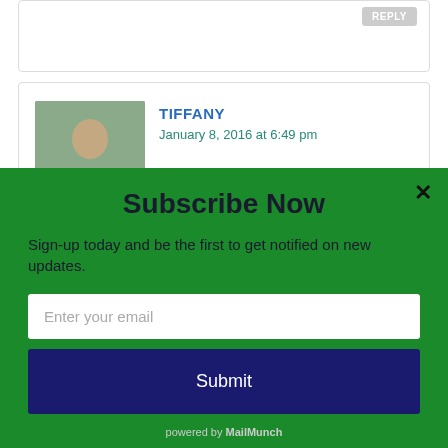[Figure (screenshot): Top portion of a web page showing a comment card with a REPLY button visible at top right]
[Figure (screenshot): Second comment card showing commenter avatar, name TIFFANY in blue, date January 8, 2016 at 6:49 pm, and partial comment text]
Subscribe Now
Sign-up today and be the first to get notified on new updates.
Enter your email
Submit
powered by MailMunch